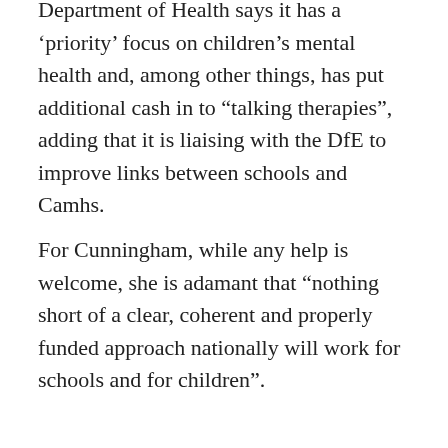Department of Health says it has a ‘priority’ focus on children’s mental health and, among other things, has put additional cash in to “talking therapies”, adding that it is liaising with the DfE to improve links between schools and Camhs.
For Cunningham, while any help is welcome, she is adamant that “nothing short of a clear, coherent and properly funded approach nationally will work for schools and for children”.
• Some names have been changed
April 21, 2014    Leave a Reply